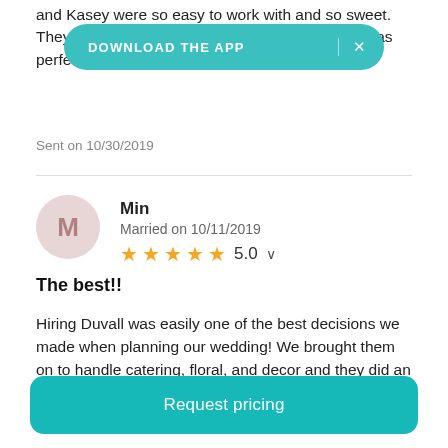and Kasey were so easy to work with and so sweet. They made my w... d it was perfect! If I could give more than 5 stars I would!
Sent on 10/30/2019
[Figure (other): Download the app banner button in teal with white text 'DOWNLOAD THE APP' and X close button]
Min
Married on 10/11/2019
5.0
The best!!
Hiring Duvall was easily one of the best decisions we made when planning our wedding! We brought them on to handle catering, floral, and decor and they did an AMAZING job. We worked with Lauren and Kasey and they were the sweetest
Request pricing